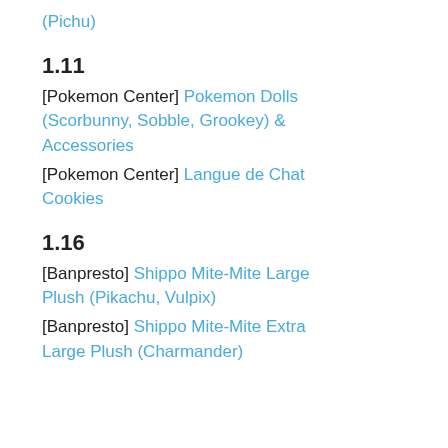(Pichu)
1.11
[Pokemon Center] Pokemon Dolls (Scorbunny, Sobble, Grookey) & Accessories
[Pokemon Center] Langue de Chat Cookies
1.16
[Banpresto] Shippo Mite-Mite Large Plush (Pikachu, Vulpix)
[Banpresto] Shippo Mite-Mite Extra Large Plush (Charmander)